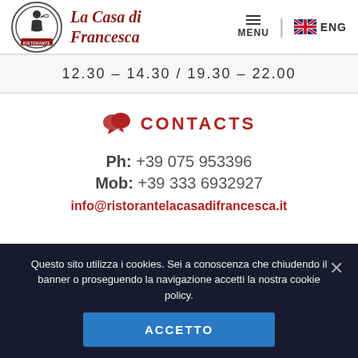[Figure (logo): La Casa di Francesca ristorante logo with circular emblem and script text]
MENU | ENG
12.30 - 14.30 / 19.30 - 22.00
CONTACTS
Ph: +39 075 953396
Mob: +39 333 6932927
info@ristorantelacasadifrancesca.it
Questo sito utilizza i cookies. Sei a conoscenza che chiudendo il banner o proseguendo la navigazione accetti la nostra cookie policy.
ACCETTO